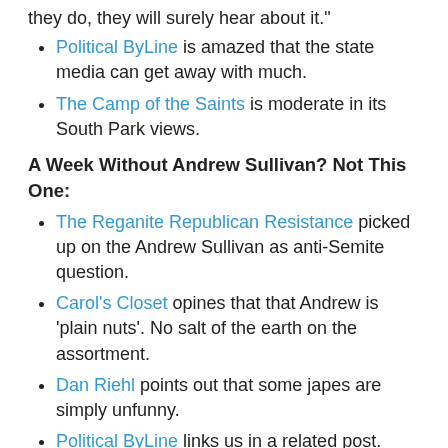they do, they will surely hear about it."
Political ByLine is amazed that the state media can get away with much.
The Camp of the Saints is moderate in its South Park views.
A Week Without Andrew Sullivan? Not This One:
The Reganite Republican Resistance picked up on the Andrew Sullivan as anti-Semite question.
Carol's Closet opines that that Andrew is 'plain nuts'. No salt of the earth on the assortment.
Dan Riehl points out that some japes are simply unfunny.
Political ByLine links us in a related post.
Parodies in Paradise
Fischersville Mike thinks that he created a monster, with the afterbirth of the Copacabana parody. "Its name was RICO. It was a statute..."
Still Unsure Why Rick Moran Torques Me So Much: